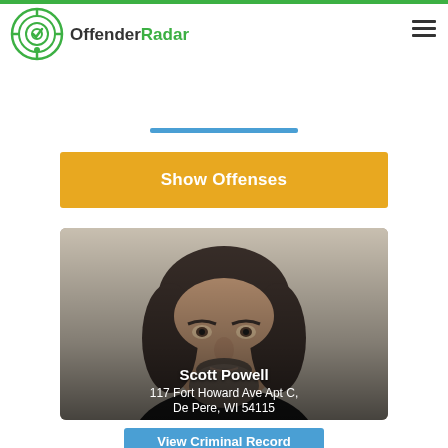OffenderRadar
Show Offenses
[Figure (photo): Mugshot photo of Scott Powell, a middle-aged white male with long dark curly hair and a beard, overlaid with name and address text: Scott Powell, 117 Fort Howard Ave Apt C, De Pere, WI 54115]
View Criminal Record